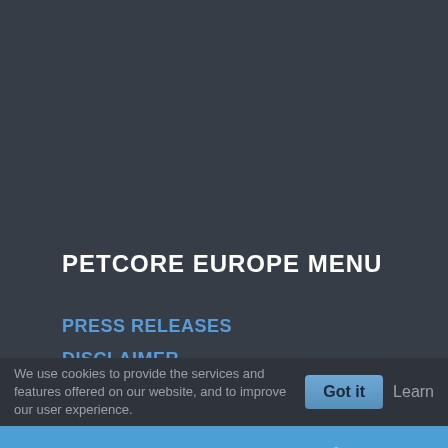PETCORE EUROPE MENU
PRESS RELEASES
DISCLAIMER
USER PROFILE
SITE MAP
SEARCH
We use cookies to provide the services and features offered on our website, and to improve our user experience.
Got it
Learn
[Figure (illustration): Facebook and Twitter social media icons in white on a blue bar at the bottom of the page]